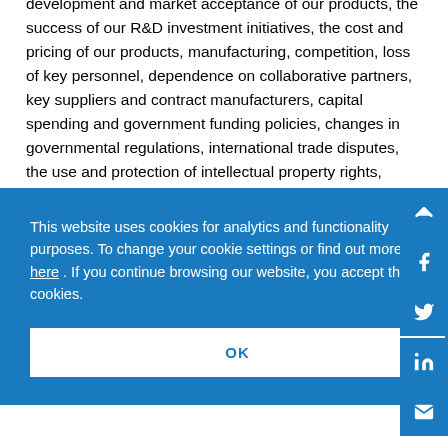development and market acceptance of our products, the success of our R&D investment initiatives, the cost and pricing of our products, manufacturing, competition, loss of key personnel, dependence on collaborative partners, key suppliers and contract manufacturers, capital spending and government funding policies, changes in governmental regulations, international trade disputes, the use and protection of intellectual property rights, litigation, and other risk factors discussed from time to time in our filings with the Securities and Exchange Commission, or SEC.
This website uses cookies for analytics and functionality purposes. To change your cookie settings or find out more, click here . If you continue browsing our website, you accept these cookies.
OK